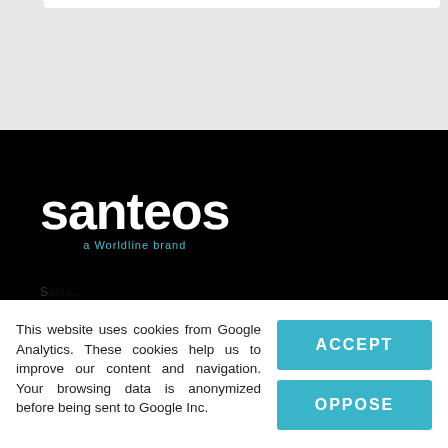[Figure (logo): Santeos logo on black background - white bold text 'santeos' with tagline 'a Worldline brand' in teal]
This website uses cookies from Google Analytics. These cookies help us to improve our content and navigation. Your browsing data is anonymized before being sent to Google Inc.
ACCEPT
OPPOSE